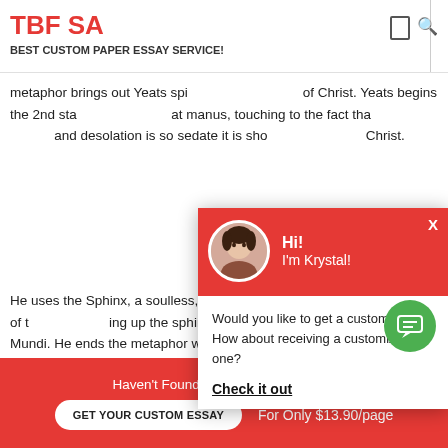TBF SA
BEST CUSTOM PAPER ESSAY SERVICE!
metaphor brings out Yeats spi... of Christ. Yeats begins the 2nd sta... at manus, touching to the fact tha... and desolation is so sedate it is sho... Christ.
[Figure (screenshot): Chat popup with avatar of woman, red header saying Hi! I'm Krystal!, and message: Would you like to get a custom essay? How about receiving a customized one? Check it out]
He uses the Sphinx, a soulless, ... e Spirutus Mundi or the spirit of t... ing up the sphinx refers to Jesus na... Spirutus Mundi. He ends the metaphor with a inquiry grade, ... ing
Haven't Found The Essay You Want?
GET YOUR CUSTOM ESSAY    For Only $13.90/page